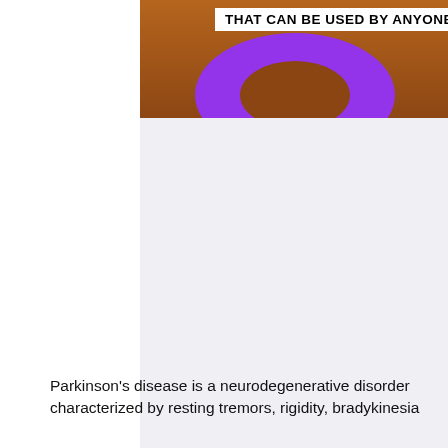[Figure (photo): Photo of a purple donut-shaped silicone object on a wooden surface, with a white device partially visible. Text overlay reads 'THAT CAN BE USED BY ANYONE' in bold black text on white background.]
Parkinson's disease is a neurodegenerative disorder characterized by resting tremors, rigidity, bradykinesia